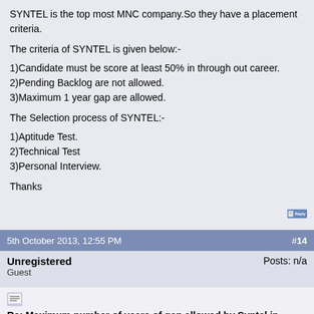SYNTEL is the top most MNC company.So they have a placement criteria.
The criteria of SYNTEL is given below:-
1)Candidate must be score at least 50% in through out career.
2)Pending Backlog are not allowed.
3)Maximum 1 year gap are allowed.
The Selection process of SYNTEL:-
1)Aptitude Test.
2)Technical Test
3)Personal Interview.
Thanks
5th October 2013, 12:55 PM   #14
Unregistered
Guest   Posts: n/a
Re: Maximum number of years of gap allowed by Syntel in Campus Recruitment?
i am in mca vth sem , i have gap in my studies of 2 year after H.S. and after graduation 1 year , so total gap is 3 year , r i am aligible to wotk with MNc it company my percentage is above then 60% in all exams pls reply me ans @ amitgandhi.839@gmail.com